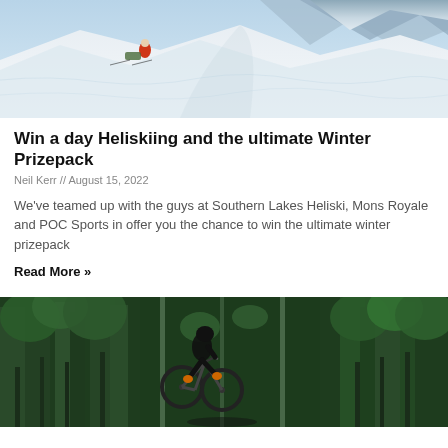[Figure (photo): Heliskiing scene with a skier in a red jacket being pulled across a snowy mountain slope, with snowy peaks in the background]
Win a day Heliskiing and the ultimate Winter Prizepack
Neil Kerr // August 15, 2022
We've teamed up with the guys at Southern Lakes Heliski, Mons Royale and POC Sports in offer you the chance to win the ultimate winter prizepack
Read More »
[Figure (photo): Mountain biker in black gear jumping through a forest, with green trees in the background]